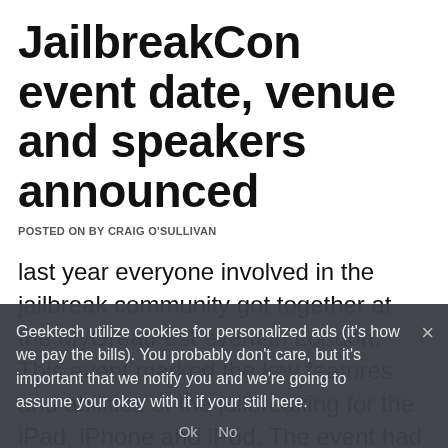JailbreakCon event date, venue and speakers announced
POSTED ON BY CRAIG O'SULLIVAN
last year everyone involved in the jailbreak community got together at the MyGreatFest event in London. This event marked the key features and abilities of the jailbreaking for the iPad, iPhone and iPod. The event had speakers from everyone big in the jailbreaking scene which included the Chronic Dev team,
Geektech utilize cookies for personalized ads (it's how we pay the bills). You probably don't care, but it's important that we notify you and we're going to assume your okay with it if your still here.
Ok   No
READ MORE